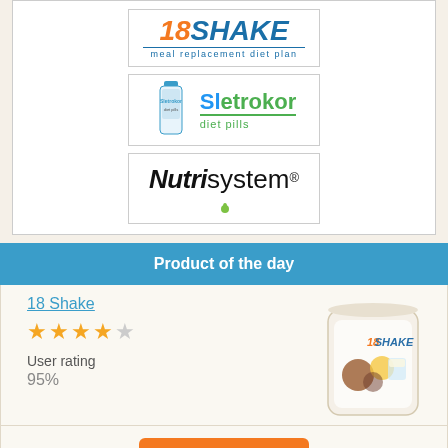[Figure (logo): 18SHAKE meal replacement diet plan logo]
[Figure (logo): Sletrokor diet pills logo with bottle image]
[Figure (logo): Nutrisystem logo]
Product of the day
18 Shake
[Figure (photo): 18SHAKE product bag photo]
User rating
95%
READ MORE